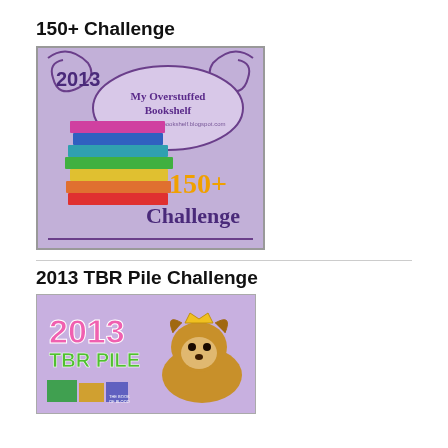150+ Challenge
[Figure (illustration): 2013 My Overstuffed Bookshelf 150+ Challenge badge with stacked colorful books and decorative swirl border]
2013 TBR Pile Challenge
[Figure (illustration): 2013 TBR Pile Challenge badge with a dog wearing a crown and books in background]